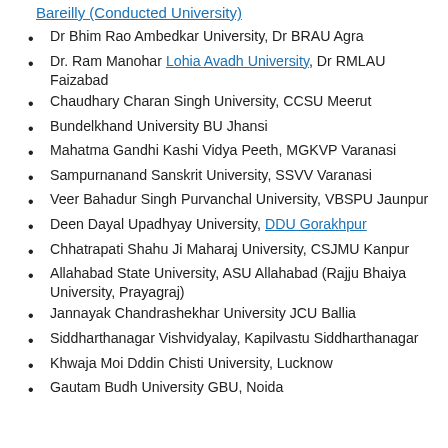Bareilly (Conducted University)
Dr Bhim Rao Ambedkar University, Dr BRAU Agra
Dr. Ram Manohar Lohia Avadh University, Dr RMLAU Faizabad
Chaudhary Charan Singh University, CCSU Meerut
Bundelkhand University BU Jhansi
Mahatma Gandhi Kashi Vidya Peeth, MGKVP Varanasi
Sampurnanand Sanskrit University, SSVV Varanasi
Veer Bahadur Singh Purvanchal University, VBSPU Jaunpur
Deen Dayal Upadhyay University, DDU Gorakhpur
Chhatrapati Shahu Ji Maharaj University, CSJMU Kanpur
Allahabad State University, ASU Allahabad (Rajju Bhaiya University, Prayagraj)
Jannayak Chandrashekhar University JCU Ballia
Siddharthanagar Vishvidyalay, Kapilvastu Siddharthanagar
Khwaja Moi Dddin Chisti University, Lucknow
Gautam Budh University GBU, Noida